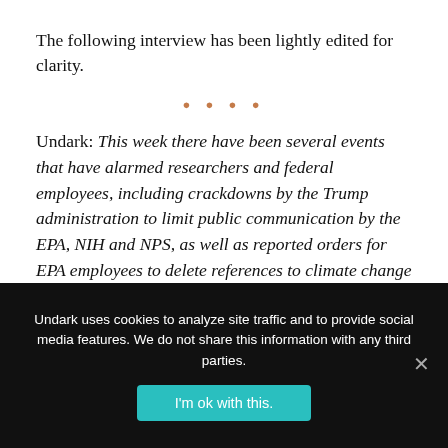The following interview has been lightly edited for clarity.
• • • •
Undark: This week there have been several events that have alarmed researchers and federal employees, including crackdowns by the Trump administration to limit public communication by the EPA, NIH and NPS, as well as reported orders for EPA employees to delete references to climate change in public documents — an order which has since been somewhat rescinded. How do
Undark uses cookies to analyze site traffic and to provide social media features. We do not share this information with any third parties.
I'm ok with this.